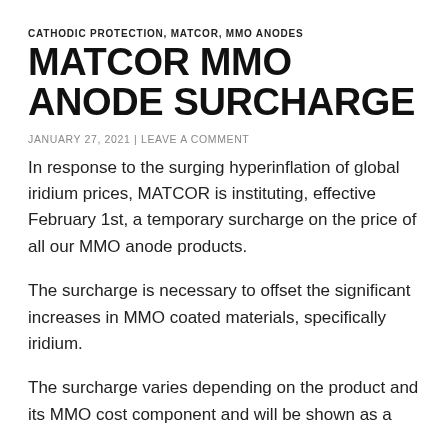CATHODIC PROTECTION, MATCOR, MMO ANODES
MATCOR MMO ANODE SURCHARGE
JANUARY 27, 2021 | LEAVE A COMMENT
In response to the surging hyperinflation of global iridium prices, MATCOR is instituting, effective February 1st, a temporary surcharge on the price of all our MMO anode products.
The surcharge is necessary to offset the significant increases in MMO coated materials, specifically iridium.
The surcharge varies depending on the product and its MMO cost component and will be shown as a